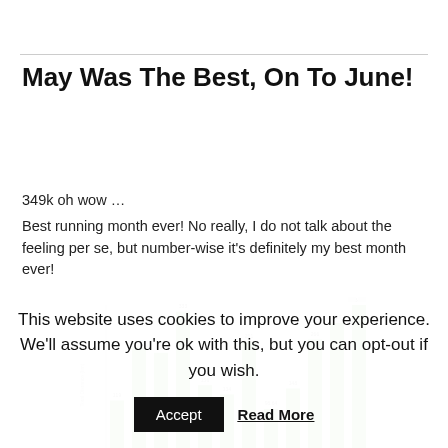May Was The Best, On To June!
349k oh wow …
Best running month ever! No really, I do not talk about the feeling per se, but number-wise it's definitely my best month ever!
[Figure (bar-chart): My last months in Endomondo]
My last months in Endomondo
I've picked up running around February 2013 and before May my
This website uses cookies to improve your experience. We'll assume you're ok with this, but you can opt-out if you wish.